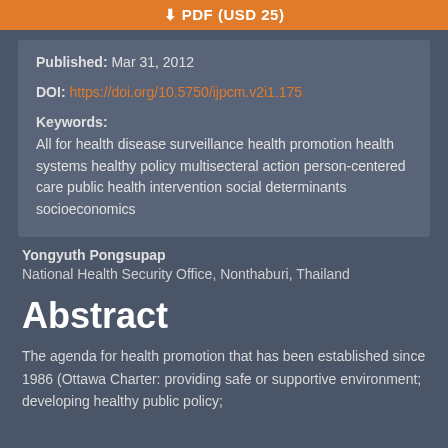PDF (USD 25)
Published: Mar 31, 2012
DOI: https://doi.org/10.5750/ijpcm.v2i1.175
Keywords: All for health disease surveillance health promotion health systems healthy policy multisecteral action person-centered care public health intervention social determinants socioeconomics
Yongyuth Pongsupap
National Health Security Office, Nonthaburi, Thailand
Abstract
The agenda for health promotion that has been established since 1986 (Ottawa Charter: providing safe or supportive environment; developing healthy public policy;